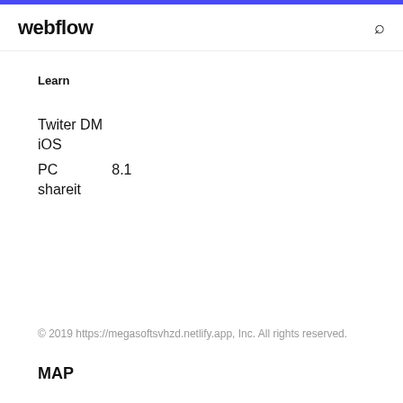webflow
Learn
Twiter DM
iOS
PC        8.1
shareit
© 2019 https://megasoftsvhzd.netlify.app, Inc. All rights reserved.
MAP